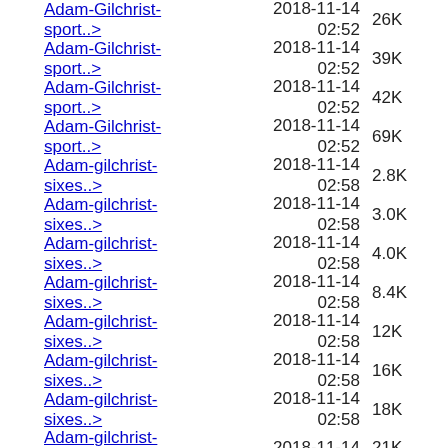Adam-Gilchrist-sport..> 2018-11-14 02:52 26K
Adam-Gilchrist-sport..> 2018-11-14 02:52 39K
Adam-Gilchrist-sport..> 2018-11-14 02:52 42K
Adam-Gilchrist-sport..> 2018-11-14 02:52 69K
Adam-gilchrist-sixes..> 2018-11-14 02:58 2.8K
Adam-gilchrist-sixes..> 2018-11-14 02:58 3.0K
Adam-gilchrist-sixes..> 2018-11-14 02:58 4.0K
Adam-gilchrist-sixes..> 2018-11-14 02:58 8.4K
Adam-gilchrist-sixes..> 2018-11-14 02:58 12K
Adam-gilchrist-sixes..> 2018-11-14 02:58 16K
Adam-gilchrist-sixes..> 2018-11-14 02:58 18K
Adam-gilchrist-sixes..> 2018-11-14 21K